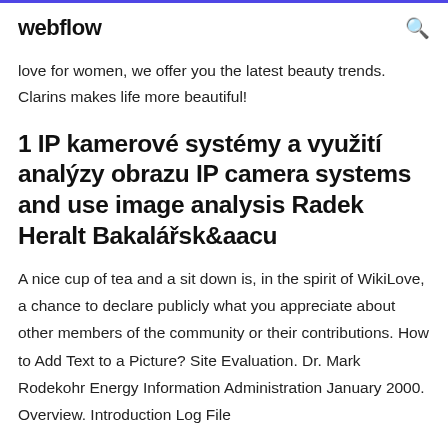webflow
love for women, we offer you the latest beauty trends. Clarins makes life more beautiful!
1 IP kamerové systémy a využití analýzy obrazu IP camera systems and use image analysis Radek Heralt Bakalářsk&aacu
A nice cup of tea and a sit down is, in the spirit of WikiLove, a chance to declare publicly what you appreciate about other members of the community or their contributions. How to Add Text to a Picture? Site Evaluation. Dr. Mark Rodekohr Energy Information Administration January 2000. Overview. Introduction Log File